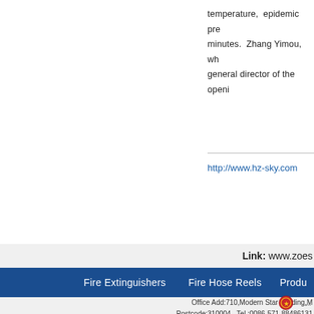temperature, epidemic pre... minutes. Zhang Yimou, wh... general director of the openi...
http://www.hz-sky.com
Link: www.zoes...
Fire Extinguishers   Fire Hose Reels   Produ...
Office Add:710,Modern Star Building,M... Postcode:310004   Tel.:0086-571-88486131 Copy Right Hangzhou Zoesky Fire ...